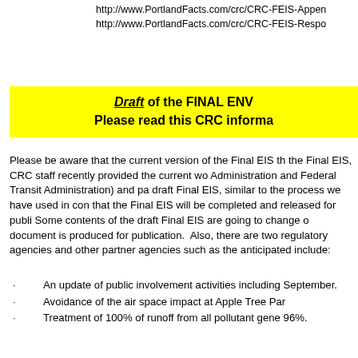http://www.PortlandFacts.com/crc/CRC-FEIS-Appen...
http://www.PortlandFacts.com/crc/CRC-FEIS-Respo...
Draft of the FINAL ENV...
Please read this CRC informa...
Please be aware that the current version of the Final EIS th... the Final EIS, CRC staff recently provided the current wo... Administration and Federal Transit Administration) and pa... draft Final EIS, similar to the process we have used in con... that the Final EIS will be completed and released for publi... Some contents of the draft Final EIS are going to change o... document is produced for publication. Also, there are two... regulatory agencies and other partner agencies such as the... anticipated include:
An update of public involvement activities including... September.
Avoidance of the air space impact at Apple Tree Par...
Treatment of 100% of runoff from all pollutant gene... 96%.